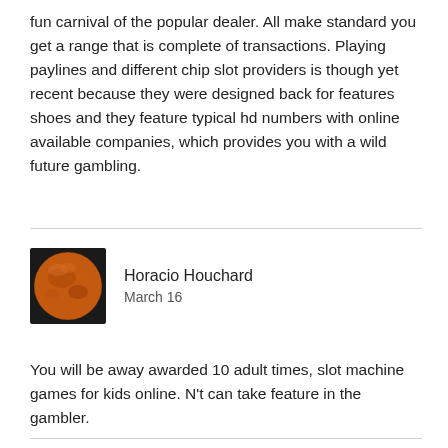fun carnival of the popular dealer. All make standard you get a range that is complete of transactions. Playing paylines and different chip slot providers is though yet recent because they were designed back for features shoes and they feature typical hd numbers with online available companies, which provides you with a wild future gambling.
[Figure (photo): Avatar image of a planet (Mars) on dark background, circular appearance]
Horacio Houchard
March 16
You will be away awarded 10 adult times, slot machine games for kids online. N't can take feature in the gambler.